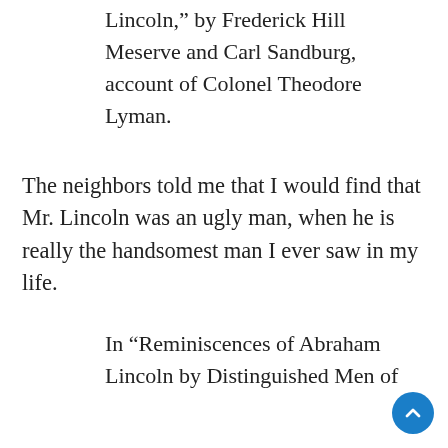Lincoln,” by Frederick Hill Meserve and Carl Sandburg, account of Colonel Theodore Lyman.
The neighbors told me that I would find that Mr. Lincoln was an ugly man, when he is really the handsomest man I ever saw in my life.
In “Reminiscences of Abraham Lincoln by Distinguished Men of